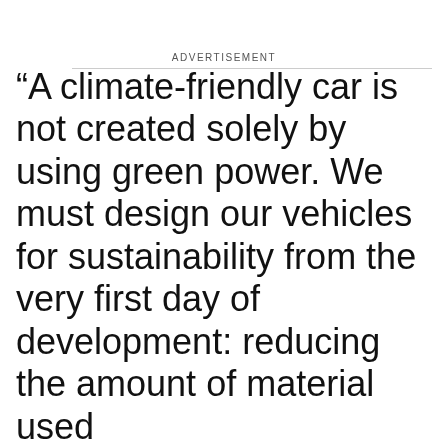ADVERTISEMENT
“A climate-friendly car is not created solely by using green power. We must design our vehicles for sustainability from the very first day of development: reducing the amount of material used